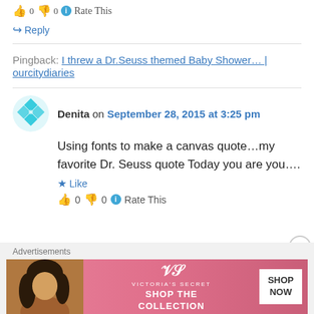👍 0 👎 0 ℹ Rate This
↪ Reply
Pingback: I threw a Dr.Seuss themed Baby Shower… | ourcitydiaries
Denita on September 28, 2015 at 3:25 pm
Using fonts to make a canvas quote…my favorite Dr. Seuss quote Today you are you….
★ Like
👍 0 👎 0 ℹ Rate This
Advertisements
[Figure (photo): Victoria's Secret advertisement banner with woman and 'SHOP THE COLLECTION SHOP NOW' text]